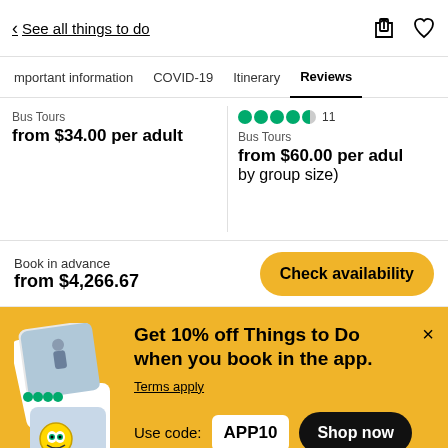< See all things to do
Important information   COVID-19   Itinerary   Reviews
Bus Tours
from $34.00 per adult
●●●●◐ 11
Bus Tours
from $60.00 per adult (by group size)
Book in advance
from $4,266.67
Check availability
Get 10% off Things to Do when you book in the app.
Terms apply
Use code: APP10
Shop now